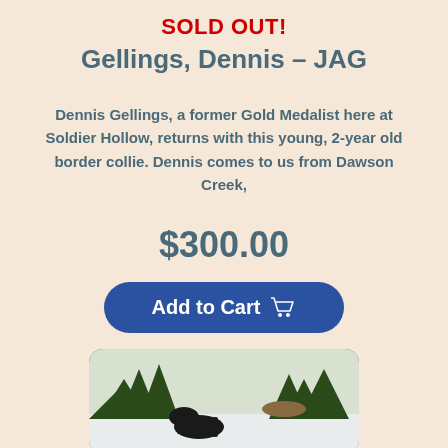SOLD OUT!
Gellings, Dennis – JAG
Dennis Gellings, a former Gold Medalist here at Soldier Hollow, returns with this young, 2-year old border collie. Dennis comes to us from Dawson Creek,
$300.00
[Figure (other): Add to Cart button with shopping cart icon]
[Figure (photo): Photo of a border collie outdoors near evergreen trees in a snowy setting]